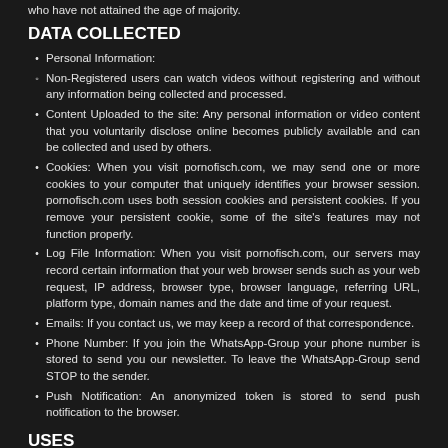who have not attained the age of majority.
DATA COLLECTED
Personal Information:
Non-Registered users can watch videos without registering and without any information being collected and processed.
Content Uploaded to the site: Any personal information or video content that you voluntarily disclose online becomes publicly available and can be collected and used by others.
Cookies: When you visit pornofisch.com, we may send one or more cookies to your computer that uniquely identifies your browser session. pornofisch.com uses both session cookies and persistent cookies. If you remove your persistent cookie, some of the site's features may not function properly.
Log File Information: When you visit pornofisch.com, our servers may record certain information that your web browser sends such as your web request, IP address, browser type, browser language, referring URL, platform type, domain names and the date and time of your request.
Emails: If you contact us, we may keep a record of that correspondence.
Phone Number: If you join the WhatsApp-Group your phone number is stored to send you our newsletter. To leave the WhatsApp-Group send STOP to the sender.
Push Notification: An anonymized token is stored to send push notification to the browser.
USES
Your Personally identifiable information submitted to pornofisch.com is used to provide to the user the website's features and special personalized features.
Your chosen username (not your email address) is displayed to other Users alongside the content you upload, including videos, comments, at the